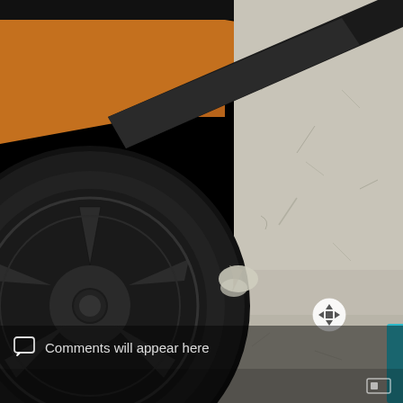[Figure (photo): Close-up photo of a black car wheel and tire next to a concrete wall surface. The car body is visible in the upper portion showing an orange/brown color. A black door sill/rocker panel runs diagonally. Water appears to be draining or leaking from the underside of the car onto the concrete floor. A move/drag icon (circle with arrows) is visible in the lower right area of the photo.]
Comments will appear here